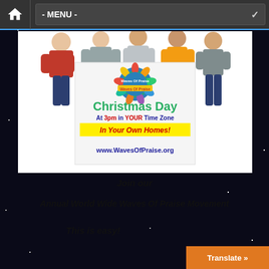- MENU -
[Figure (illustration): Promotional banner for Waves Of Praise Christmas Day event showing group of young people holding a sign. Banner text: Christmas Day At 3pm in YOUR Time Zone In Your Own Homes! www.WavesOfPraise.org]
Join our
Annual World Wide Waves Of Praise Movement
This is easy!